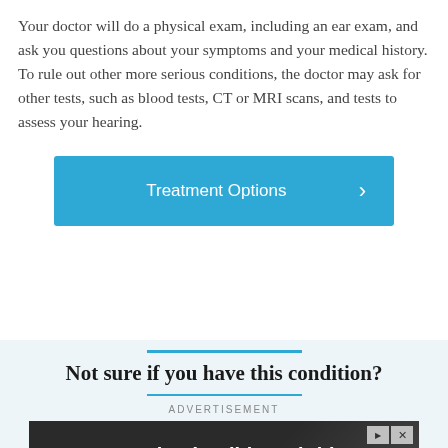Your doctor will do a physical exam, including an ear exam, and ask you questions about your symptoms and your medical history. To rule out other more serious conditions, the doctor may ask for other tests, such as blood tests, CT or MRI scans, and tests to assess your hearing.
[Figure (other): Blue rounded button labeled 'Treatment Options' with a right-pointing chevron arrow on the right side]
Not sure if you have this condition?
ADVERTISEMENT
[Figure (photo): Advertisement banner with dark background showing a scooter/bike handlebar and text 'Download Helbiz and ride' with ad control icons in top right corner]